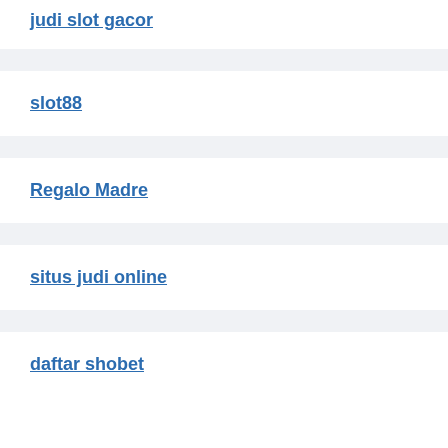judi slot gacor
slot88
Regalo Madre
situs judi online
daftar shobet